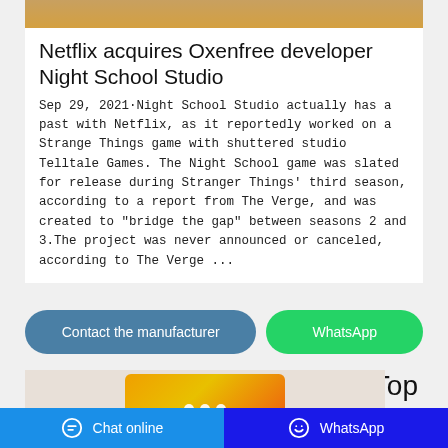[Figure (photo): Partial top image, appears to be an orange/yellow colored product on a wooden surface]
Netflix acquires Oxenfree developer Night School Studio
Sep 29, 2021·Night School Studio actually has a past with Netflix, as it reportedly worked on a Strange Things game with shuttered studio Telltale Games. The Night School game was slated for release during Stranger Things' third season, according to a report from The Verge, and was created to "bridge the gap" between seasons 2 and 3.The project was never announced or canceled, according to The Verge ...
[Figure (other): Contact the manufacturer button (blue rounded rectangle) and WhatsApp button (green rounded rectangle)]
Top
[Figure (photo): Photo showing an orange/yellow product card or packaging with three white dots on a light background]
Chat online   WhatsApp